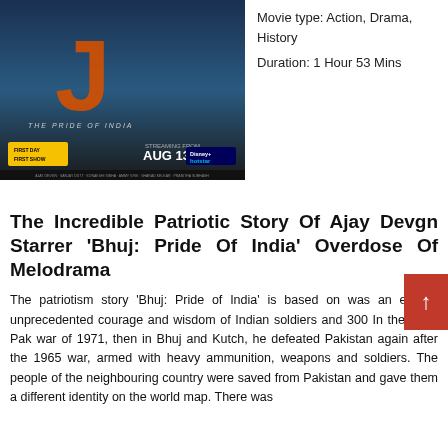[Figure (photo): Movie poster for 'Bhuj: The Pride of India' featuring orange text, military imagery, and streaming info for Disney+ Hotstar on AUG 13. Bottom left badge says 'FIRST DAY FIRST SHOW'.]
Movie type: Action, Drama, History
Duration: 1 Hour 53 Mins
The Incredible Patriotic Story Of Ajay Devgn Starrer 'Bhuj: Pride Of India' Overdose Of Melodrama
The patriotism story 'Bhuj: Pride of India' is based on was an ex the unprecedented courage and wisdom of Indian soldiers and 300 In the Indo-Pak war of 1971, then in Bhuj and Kutch, he defeated Pakistan again after the 1965 war, armed with heavy ammunition, weapons and soldiers. The people of the neighbouring country were saved from Pakistan and gave them a different identity on the world map. There was